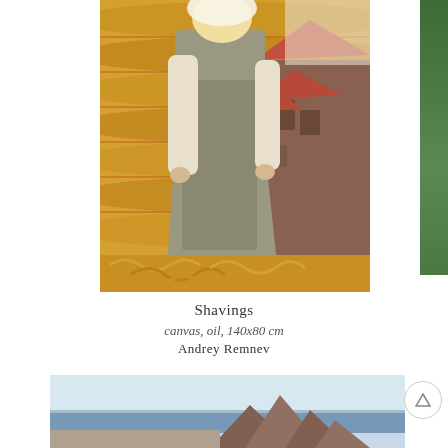[Figure (photo): Painting of a woman in a long grey dress standing in front of a wooden log wall, holding fabric of her skirt, with a red-roofed house visible behind her. Golden shavings/curls cover the ground. The artwork has warm golden tones with the woman as the central figure.]
Shavings
canvas, oil, 140x80 cm
Andrey Remnev
[Figure (photo): Landscape photograph showing rocky coastal cliffs with blue sea and sky in the background.]